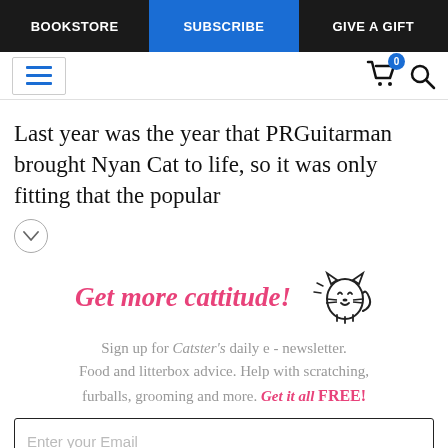BOOKSTORE | SUBSCRIBE | GIVE A GIFT
Last year was the year that PRGuitarman brought Nyan Cat to life, so it was only fitting that the popular
[Figure (illustration): Animated cat illustration (doodle line art of a smiling cat) next to the promotional headline 'Get more cattitude!']
Sign up for Catster's daily e - newsletter. Food and litterbox advice. Help with scratching, furballs, grooming and more. Get it all FREE!
Enter your Email
YES! SIGN ME UP